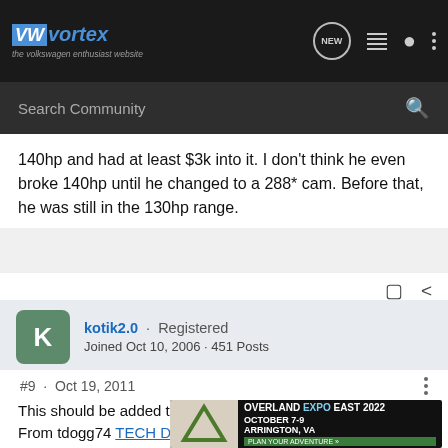VWvortex - the volkswagen enthusiast website
Search Community
140hp and had at least $3k into it. I don't think he even broke 140hp until he changed to a 288* cam. Before that, he was still in the 130hp range.
kotik2.0 · Registered
Joined Oct 10, 2006 · 451 Posts
#9 · Oct 19, 2011
This should be added to the list too.
From tdogg74 TECH Downloadable ABA 2.0 heat shield template
[Figure (screenshot): Overland Expo East 2022 advertisement banner: October 7-9, Arrington, VA - Plan Your Adventure]